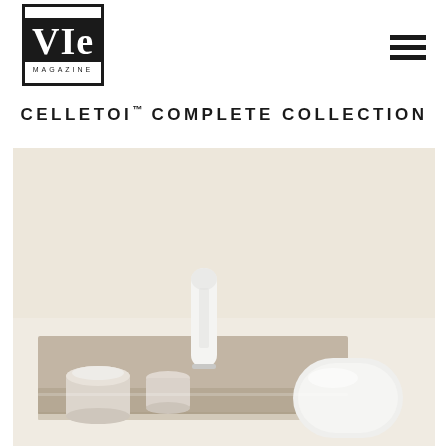VIE MAGAZINE
CELLETOI™ COMPLETE COLLECTION
[Figure (photo): Photo of the Celletoi complete skincare collection — multiple white/cream-colored product bottles, jars, and a tube arranged on a taupe geometric shelf prop against a warm beige background.]